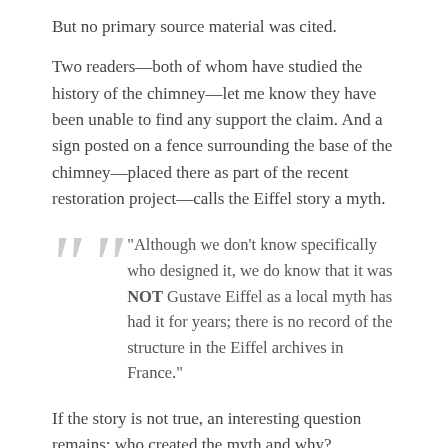But no primary source material was cited.
Two readers—both of whom have studied the history of the chimney—let me know they have been unable to find any support the claim. And a sign posted on a fence surrounding the base of the chimney—placed there as part of the recent restoration project—calls the Eiffel story a myth.
“Although we don’t know specifically who designed it, we do know that it was NOT Gustave Eiffel as a local myth has had it for years; there is no record of the structure in the Eiffel archives in France.”
If the story is not true, an interesting question remains: who created the myth and why?
← Discovering the Great
A Brief History of the